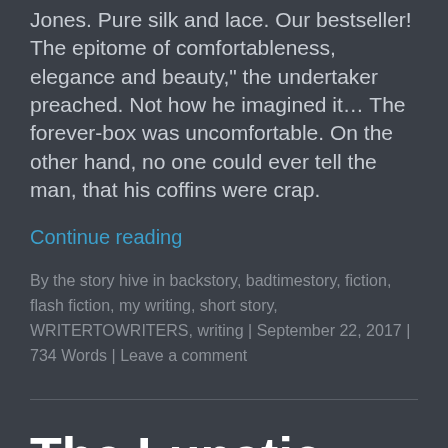Jones. Pure silk and lace. Our bestseller! The epitome of comfortableness, elegance and beauty," the undertaker preached. Not how he imagined it… The forever-box was uncomfortable. On the other hand, no one could ever tell the man, that his coffins were crap.
Continue reading
By the story hive in backstory, badtimestory, fiction, flash fiction, my writing, short story, WRITERTOWRITERS, writing | September 22, 2017 | 734 Words | Leave a comment
The Lunatic And The Moon